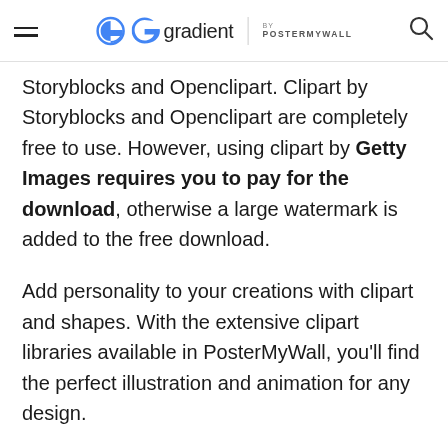gradient by POSTERMYWALL
Storyblocks and Openclipart. Clipart by Storyblocks and Openclipart are completely free to use. However, using clipart by Getty Images requires you to pay for the download, otherwise a large watermark is added to the free download.
Add personality to your creations with clipart and shapes. With the extensive clipart libraries available in PosterMyWall, you'll find the perfect illustration and animation for any design.
Watch the above video, or read on to learn